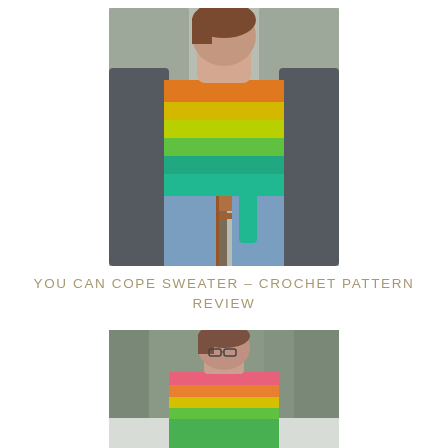[Figure (photo): Woman standing on a wooden deck outside in front of trees, wearing a rainbow-striped crochet tank top with orange, yellow, green, and teal horizontal stripes, and a dark gray open cardigan over it. Jeans visible at bottom. Outdoor winter/spring setting.]
YOU CAN COPE SWEATER – CROCHET PATTERN REVIEW
[Figure (photo): Woman standing outdoors in front of trees and snow, wearing a rainbow-striped crochet sweater with pink, orange, yellow, and green horizontal stripes. She has short brown hair and glasses. Partial view cropped at bottom of page.]